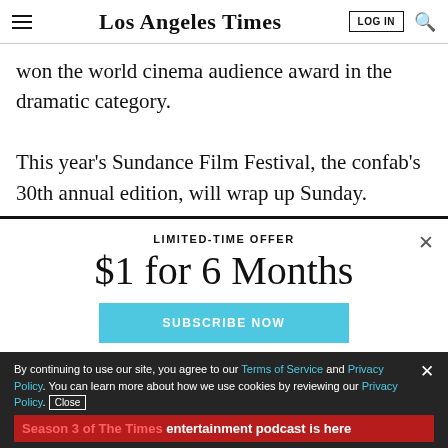Los Angeles Times
won the world cinema audience award in the dramatic category.
This year’s Sundance Film Festival, the confab’s 30th annual edition, will wrap up Sunday.
LIMITED-TIME OFFER
$1 for 6 Months
SUBSCRIBE NOW
By continuing to use our site, you agree to our Terms of Service and Privacy Policy. You can learn more about how we use cookies by reviewing our Privacy Policy. Close
Season 3 of The Times entertainment podcast is here